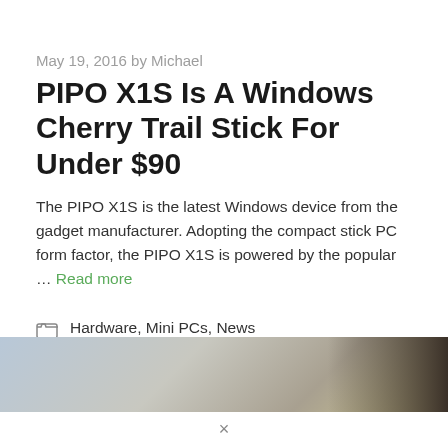May 19, 2016 by Michael
PIPO X1S Is A Windows Cherry Trail Stick For Under $90
The PIPO X1S is the latest Windows device from the gadget manufacturer. Adopting the compact stick PC form factor, the PIPO X1S is powered by the popular … Read more
Hardware, Mini PCs, News
Intel, Intel X5-Z8300, PiPO, Windows
[Figure (photo): A blurred photograph of a device or product, partially visible at the bottom of the page.]